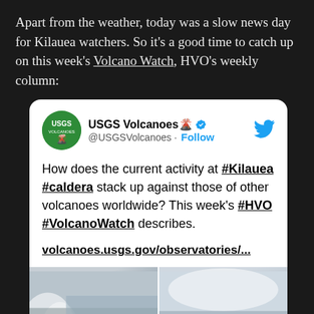Apart from the weather, today was a slow news day for Kilauea watchers. So it's a good time to catch up on this week's Volcano Watch, HVO's weekly column:
[Figure (screenshot): Embedded tweet from @USGSVolcanoes asking how current activity at #Kilauea #caldera stacks up against other volcanoes worldwide, with a link to volcanoes.usgs.gov/observatories/... and two thumbnail images of volcanic activity.]